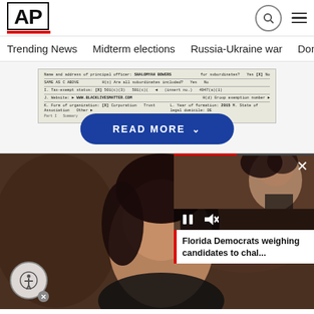[Figure (logo): AP (Associated Press) logo in black bold text with red underline bar]
Trending News   Midterm elections   Russia-Ukraine war   Dona
[Figure (screenshot): Partial document form image showing text: SHALOMYAH BOWERS, SAME AS C ABOVE, WWW.BLACKLIVESMATTER.COM, with a READ MORE button overlaid]
[Figure (photo): Main photo of a woman with dark hair smiling, with a video overlay panel in the bottom right showing another woman and the caption: Florida Democrats weighing candidates to chal...]